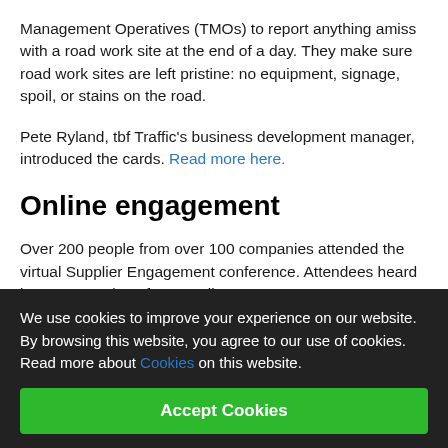Management Operatives (TMOs) to report anything amiss with a road work site at the end of a day. They make sure road work sites are left pristine: no equipment, signage, spoil, or stains on the road.
Pete Ryland, tbf Traffic's business development manager, introduced the cards. Read more here.
Online engagement
Over 200 people from over 100 companies attended the virtual Supplier Engagement conference. Attendees heard keynote speakers from Anglian Water: Peter
We use cookies to improve your experience on our website. By browsing this website, you agree to our use of cookies. Read more about Cookies on this website.
Accept Cookies